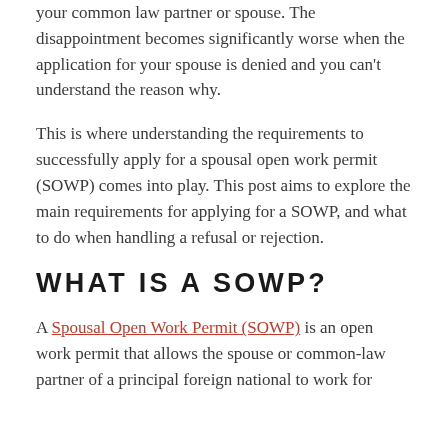your common law partner or spouse. The disappointment becomes significantly worse when the application for your spouse is denied and you can't understand the reason why.
This is where understanding the requirements to successfully apply for a spousal open work permit (SOWP) comes into play. This post aims to explore the main requirements for applying for a SOWP, and what to do when handling a refusal or rejection.
WHAT IS A SOWP?
A Spousal Open Work Permit (SOWP) is an open work permit that allows the spouse or common-law partner of a principal foreign national to work for any employer in Canada. The principal...